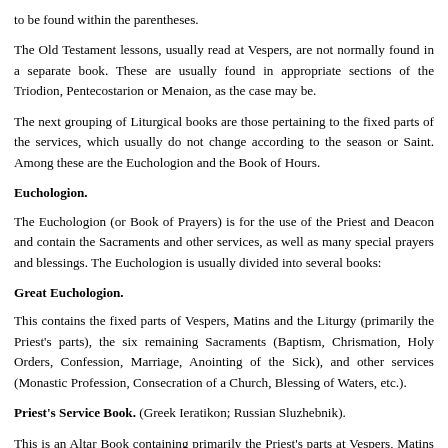to be found within the parentheses.
The Old Testament lessons, usually read at Vespers, are not normally found in a separate book. These are usually found in appropriate sections of the Triodion, Pentecostarion or Menaion, as the case may be.
The next grouping of Liturgical books are those pertaining to the fixed parts of the services, which usually do not change according to the season or Saint. Among these are the Euchologion and the Book of Hours.
Euchologion.
The Euchologion (or Book of Prayers) is for the use of the Priest and Deacon and contain the Sacraments and other services, as well as many special prayers and blessings. The Euchologion is usually divided into several books:
Great Euchologion.
This contains the fixed parts of Vespers, Matins and the Liturgy (primarily the Priest's parts), the six remaining Sacraments (Baptism, Chrismation, Holy Orders, Confession, Marriage, Anointing of the Sick), and other services (Monastic Profession, Consecration of a Church, Blessing of Waters, etc.).
Priest's Service Book. (Greek Ieratikon; Russian Sluzhebnik).
This is an Altar Book containing primarily the Priest's parts at Vespers, Matins and